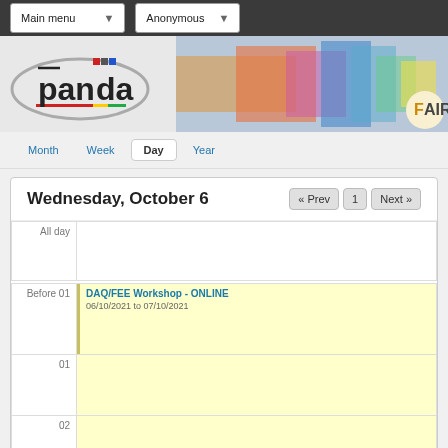Main menu   Anonymous
[Figure (logo): PANDA experiment logo with colorful detector image and FAIR logo on the right]
Month  Week  Day  Year
Wednesday, October 6
| Time | Event |
| --- | --- |
| All day |  |
| Before 01 | DAQ/FEE Workshop - ONLINE
06/10/2021 to 07/10/2021 |
| 01 |  |
| 02 |  |
| 03 |  |